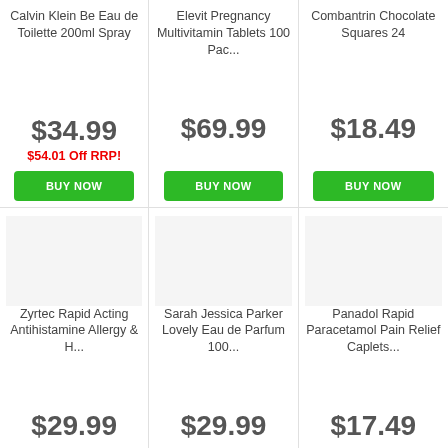Calvin Klein Be Eau de Toilette 200ml Spray
$34.99
$54.01 Off RRP!
BUY NOW
Elevit Pregnancy Multivitamin Tablets 100 Pac...
$69.99
BUY NOW
Combantrin Chocolate Squares 24
$18.49
BUY NOW
Zyrtec Rapid Acting Antihistamine Allergy & H...
$29.99
Sarah Jessica Parker Lovely Eau de Parfum 100...
$29.99
Panadol Rapid Paracetamol Pain Relief Caplets...
$17.49